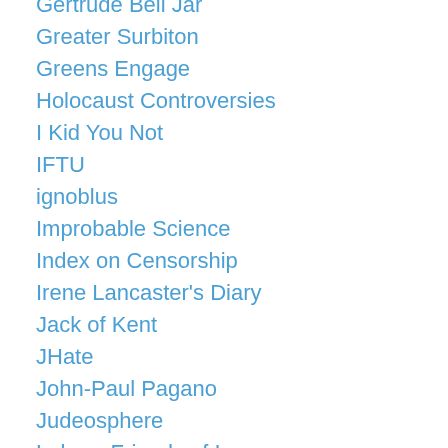Gertrude Bell Jar
Greater Surbiton
Greens Engage
Holocaust Controversies
I Kid You Not
IFTU
ignoblus
Improbable Science
Index on Censorship
Irene Lancaster's Diary
Jack of Kent
JHate
John-Paul Pagano
Judeosphere
Labour Friends of Iraq
Labour Start
Links Not Boycott
Martin in the Margins
Max Dunbar
Michael J Totten